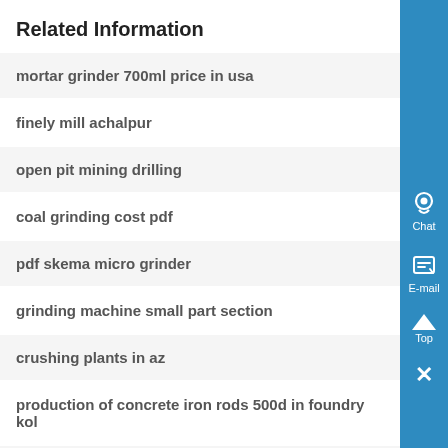Related Information
mortar grinder 700ml price in usa
finely mill achalpur
open pit mining drilling
coal grinding cost pdf
pdf skema micro grinder
grinding machine small part section
crushing plants in az
production of concrete iron rods 500d in foundry kol
por le rock crusher price